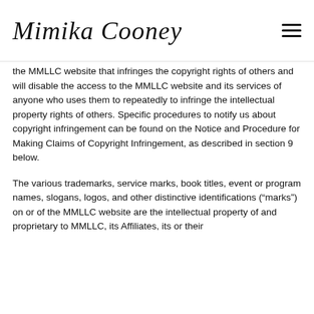Mimika Cooney
the MMLLC website that infringes the copyright rights of others and will disable the access to the MMLLC website and its services of anyone who uses them to repeatedly to infringe the intellectual property rights of others. Specific procedures to notify us about copyright infringement can be found on the Notice and Procedure for Making Claims of Copyright Infringement, as described in section 9 below.
The various trademarks, service marks, book titles, event or program names, slogans, logos, and other distinctive identifications (“marks”) on or of the MMLLC website are the intellectual property of and proprietary to MMLLC, its Affiliates, its or their